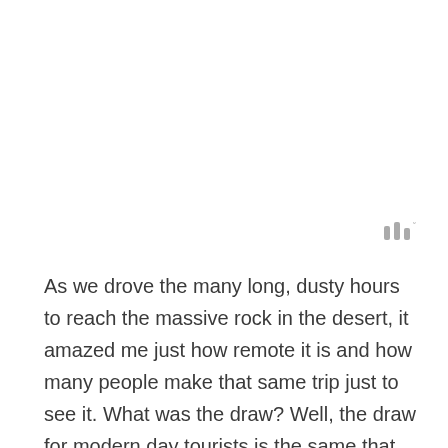[Figure (other): Small icon or symbol (three vertical bars with a degree symbol) in light grey, positioned upper right area of page]
As we drove the many long, dusty hours to reach the massive rock in the desert, it amazed me just how remote it is and how many people make that same trip just to see it. What was the draw? Well, the draw for modern day tourists is the same that made it a sacred place for the indigenous peoples, it's just so out of place.